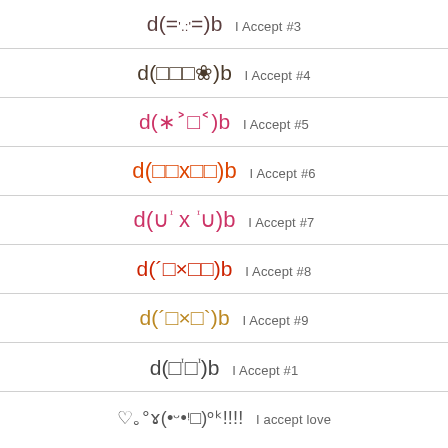d(=':=)b  I Accept #3
d(□□□❀)b  I Accept #4
d(*ˇ□ˇ)b  I Accept #5
d(□□x□□)b  I Accept #6
d(∪ ᶦ x ᶦ ∪)b  I Accept #7
d(´□×□□)b  I Accept #8
d(´□×□`)b  I Accept #9
d(□ᶦ□ᶦ)b  I Accept #1
♡.°ɤ(•ᵕ•ᵎ□)ᵒᵏ!!!!  I accept love